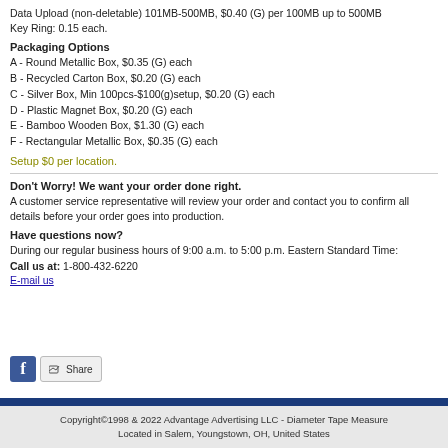Data Upload (non-deletable) 101MB-500MB, $0.40 (G) per 100MB up to 500MB Key Ring: 0.15 each.
Packaging Options
A - Round Metallic Box, $0.35 (G) each
B - Recycled Carton Box, $0.20 (G) each
C - Silver Box, Min 100pcs-$100(g)setup, $0.20 (G) each
D - Plastic Magnet Box, $0.20 (G) each
E - Bamboo Wooden Box, $1.30 (G) each
F - Rectangular Metallic Box, $0.35 (G) each
Setup $0 per location.
Don't Worry! We want your order done right. A customer service representative will review your order and contact you to confirm all details before your order goes into production.
Have questions now? During our regular business hours of 9:00 a.m. to 5:00 p.m. Eastern Standard Time: Call us at: 1-800-432-6220 E-mail us
[Figure (other): Facebook share button with Share label]
Copyright©1998 & 2022 Advantage Advertising LLC - Diameter Tape Measure Located in Salem, Youngstown, OH, United States